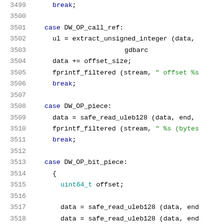[Figure (screenshot): Source code listing showing lines 3499-3519 of a C/C++ file with syntax highlighting. Contains case statements for DW_OP_call_ref, DW_OP_piece, and DW_OP_bit_piece with blue keywords, green string literals, and teal type names.]